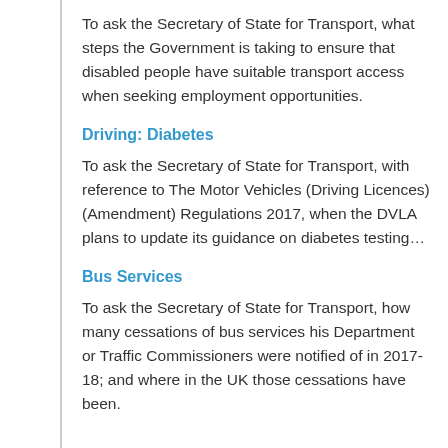To ask the Secretary of State for Transport, what steps the Government is taking to ensure that disabled people have suitable transport access when seeking employment opportunities.
Driving: Diabetes
To ask the Secretary of State for Transport, with reference to The Motor Vehicles (Driving Licences) (Amendment) Regulations 2017, when the DVLA plans to update its guidance on diabetes testing…
Bus Services
To ask the Secretary of State for Transport, how many cessations of bus services his Department or Traffic Commissioners were notified of in 2017-18; and where in the UK those cessations have been.